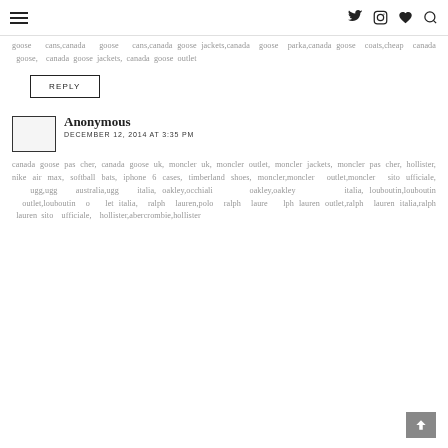Navigation bar with menu icon and social icons (Twitter, Instagram, heart, search)
goose · cans,canada goose · cans,canada goose jackets,canada goose parka,canada goose coats,cheap canada goose, canada goose jackets, canada goose outlet
REPLY
Anonymous
DECEMBER 12, 2014 AT 3:35 PM
canada goose pas cher, canada goose uk, moncler uk, moncler outlet, moncler jackets, moncler pas cher, hollister, nike air max, softball bats, iphone 6 cases, timberland shoes, moncler,moncler outlet,moncler sito ufficiale, ugg,ugg australia,ugg italia, oakley,occhiali oakley,oakley italia, louboutin,louboutin outlet,louboutin outlet italia, ralph lauren,polo ralph lauren,ralph lauren outlet,ralph lauren italia,ralph lauren sito ufficiale, hollister,abercrombie,hollister